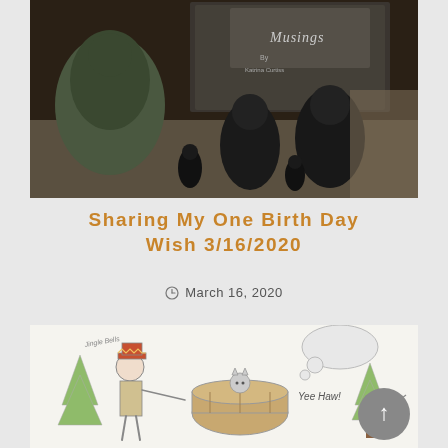[Figure (photo): Photo of Buddha statues and figurines on a table, with a dark book in the background titled 'Musings']
Sharing My One Birth Day Wish 3/16/2020
March 16, 2020
[Figure (illustration): Hand-drawn illustration showing a cartoon figure with a hat, a cat, trees, and a character saying 'Yee Haw!']